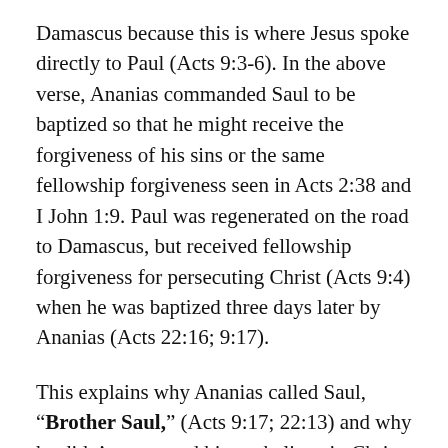Damascus because this is where Jesus spoke directly to Paul (Acts 9:3-6). In the above verse, Ananias commanded Saul to be baptized so that he might receive the forgiveness of his sins or the same fellowship forgiveness seen in Acts 2:38 and I John 1:9. Paul was regenerated on the road to Damascus, but received fellowship forgiveness for persecuting Christ (Acts 9:4) when he was baptized three days later by Ananias (Acts 22:16; 9:17).
This explains why Ananias called Saul, “Brother Saul,” (Acts 9:17; 22:13) and why he didn’t command him to believe in Christ. Saul already believed in Christ for eternal life on the road to Damascus. The demand to be baptized